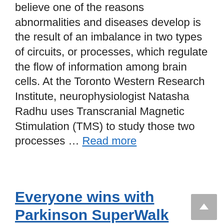Interestingly, scientists studying the brain believe one of the reasons abnormalities and diseases develop is the result of an imbalance in two types of circuits, or processes, which regulate the flow of information among brain cells. At the Toronto Western Research Institute, neurophysiologist Natasha Radhu uses Transcranial Magnetic Stimulation (TMS) to study those two processes … Read more
Everyone wins with Parkinson SuperWalk